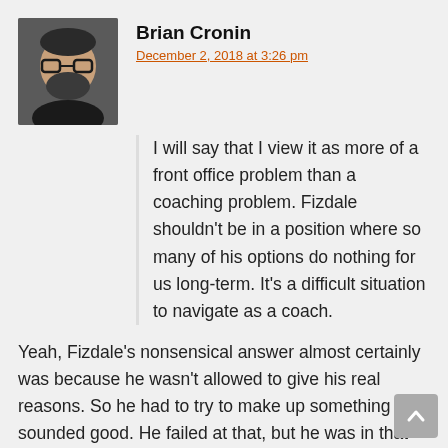[Figure (photo): Profile photo of Brian Cronin, a man with glasses and beard wearing dark clothing]
Brian Cronin
December 2, 2018 at 3:26 pm
I will say that I view it as more of a front office problem than a coaching problem. Fizdale shouldn't be in a position where so many of his options do nothing for us long-term. It's a difficult situation to navigate as a coach.
Yeah, Fizdale's nonsensical answer almost certainly was because he wasn't allowed to give his real reasons. So he had to try to make up something that sounded good. He failed at that, but he was in that position almost certainly because of the front office.